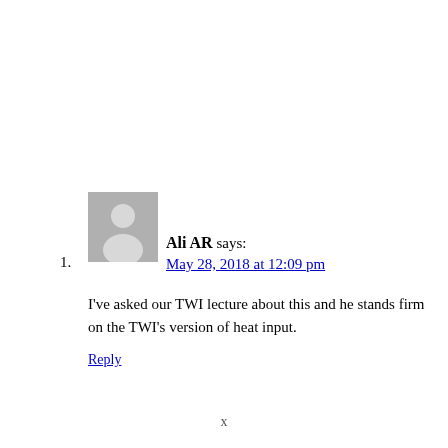1. Ali AR says: May 28, 2018 at 12:09 pm — I've asked our TWI lecture about this and he stands firm on the TWI's version of heat input. Reply
x